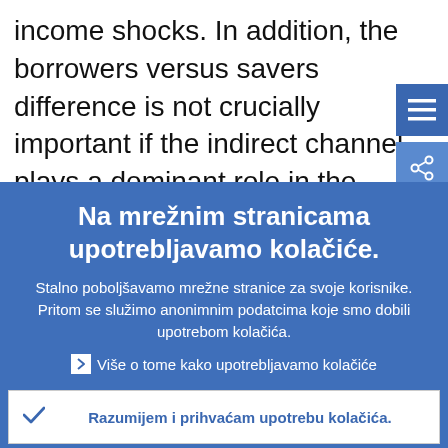income shocks. In addition, the borrowers versus savers difference is not crucially important if the indirect channel plays a dominant role in the transmission of
[Figure (screenshot): Blue square menu button with three horizontal lines (hamburger icon)]
[Figure (screenshot): Light blue square share/link button with share icon]
Na mrežnim stranicama upotrebljavamo kolačiće.
Stalno poboljšavamo mrežne stranice za svoje korisnike. Pritom se služimo anonimnim podatcima koje smo dobili upotrebom kolačića.
Više o tome kako upotrebljavamo kolačiće
Razumijem i prihvaćam upotrebu kolačića.
Ne prihvaćam upotrebu kolačića.